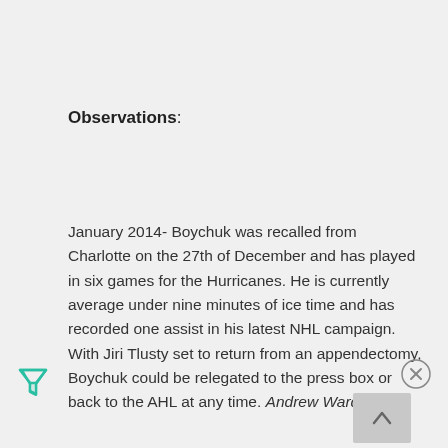Observations:
January 2014- Boychuk was recalled from Charlotte on the 27th of December and has played in six games for the Hurricanes. He is currently average under nine minutes of ice time and has recorded one assist in his latest NHL campaign. With Jiri Tlusty set to return from an appendectomy, Boychuk could be relegated to the press box or back to the AHL at any time. Andrew Ward